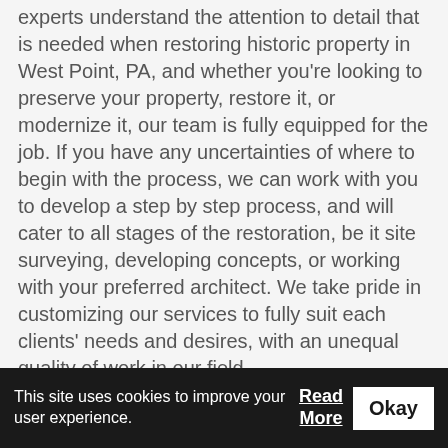experts understand the attention to detail that is needed when restoring historic property in West Point, PA, and whether you're looking to preserve your property, restore it, or modernize it, our team is fully equipped for the job. If you have any uncertainties of where to begin with the process, we can work with you to develop a step by step process, and will cater to all stages of the restoration, be it site surveying, developing concepts, or working with your preferred architect. We take pride in customizing our services to fully suit each clients' needs and desires, with an unequal quality of work in our field.
The experts at DeLise Construction are fully equipped for any historic preservation job in West Point, PA. We can handle jobs for both small and large properties, and are capable of
This site uses cookies to improve your user experience. Read More Okay